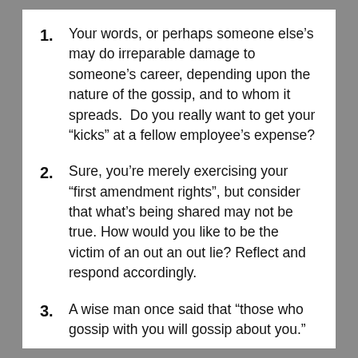1. Your words, or perhaps someone else's may do irreparable damage to someone's career, depending upon the nature of the gossip, and to whom it spreads.  Do you really want to get your “kicks” at a fellow employee’s expense?
2. Sure, you’re merely exercising your “first amendment rights”, but consider that what’s being shared may not be true. How would you like to be the victim of an out an out lie? Reflect and respond accordingly.
3. A wise man once said that “those who gossip with you will gossip about you.”